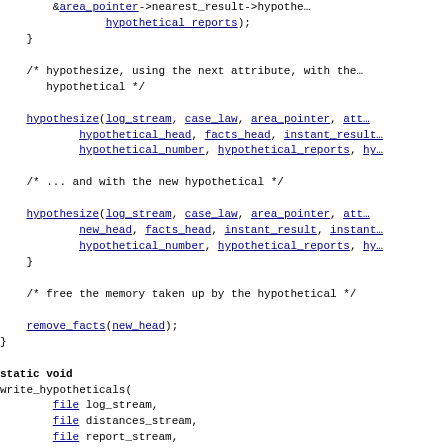Code block showing hypothesize and write_hypotheticals functions in C-like pseudocode with legal domain identifiers